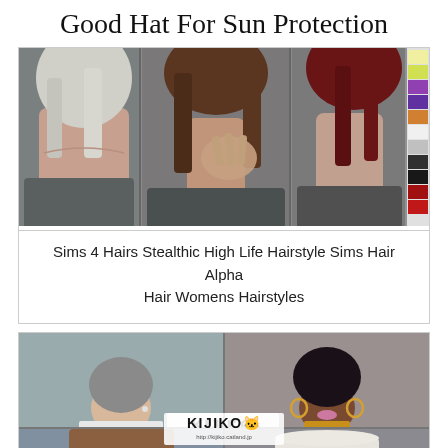Good Hat For Sun Protection
[Figure (screenshot): Three Sims 4 female characters showing different hairstyles (white/blonde, brunette with hand near face, dark red) with color swatches on the right side]
Sims 4 Hairs Stealthic High Life Hairstyle Sims Hair Alpha Hair Womens Hairstyles
[Figure (screenshot): Kijiko branded 2x2 grid showing four Sims characters: top-left pale male, top-right dark-skinned female with hoop earrings and gold necklace, bottom-left male with short brown hair, bottom-right male wearing white sun hat with dark band]